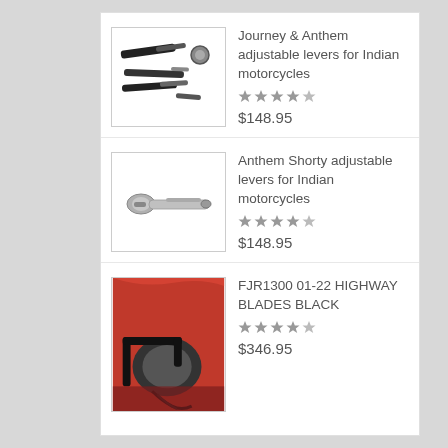[Figure (photo): Product image of adjustable levers (multiple levers laid out), black and chrome parts]
Journey & Anthem adjustable levers for Indian motorcycles
★★★★★
$148.95
[Figure (photo): Product image of a single chrome adjustable lever]
Anthem Shorty adjustable levers for Indian motorcycles
★★★★★
$148.95
[Figure (photo): Product image of FJR1300 highway blades in black, mounted on a red motorcycle]
FJR1300 01-22 HIGHWAY BLADES BLACK
★★★★★
$346.95